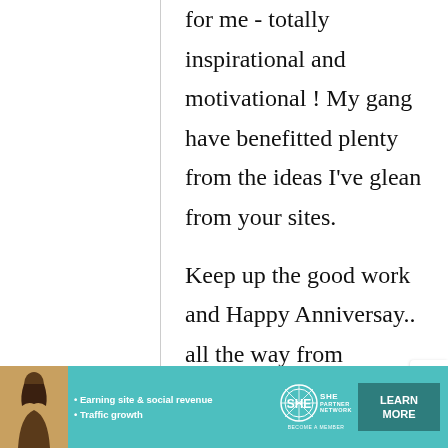for me - totally inspirational and motivational ! My gang have benefitted plenty from the ideas I've glean from your sites.
Keep up the good work and Happy Anniversay.. all the way from Shanghai, China..
[Figure (infographic): SHE Media Partner Network advertisement banner with teal background, woman photo, bullets about earning site & social revenue and traffic growth, SHE logo, and Learn More button]